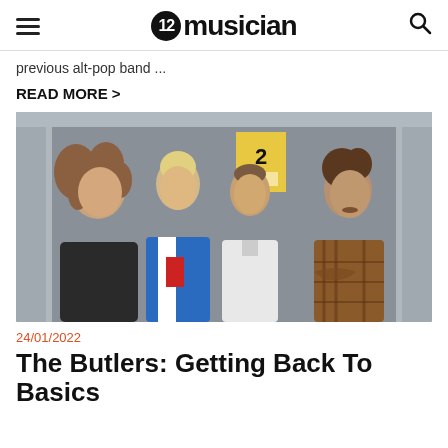musician
previous alt-pop band ...
READ MORE >
[Figure (photo): Four young men standing in an elevator. From left: person with long curly hair in a dark jacket, person with short blonde hair in a blue red and white tracksuit, person in a white polo shirt, person with dark curly hair in a brown plaid flannel shirt.]
24/01/2022
The Butlers: Getting Back To Basics